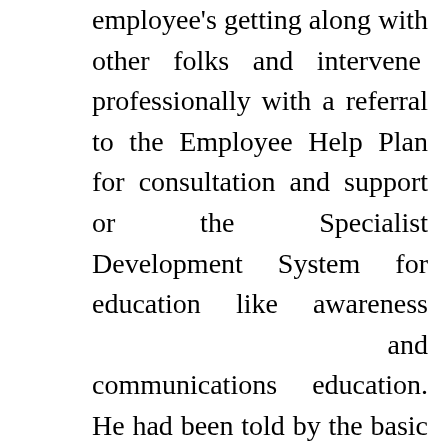employee's getting along with other folks and intervene professionally with a referral to the Employee Help Plan for consultation and support or the Specialist Development System for education like awareness and communications education. He had been told by the basic manager that he wasn't going to get her job due to the fact she has worked also hard for it. He in no way